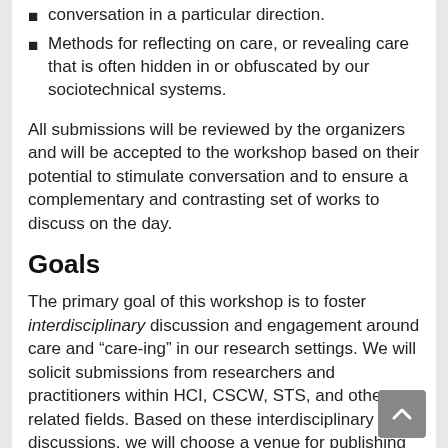conversation in a particular direction.
Methods for reflecting on care, or revealing care that is often hidden in or obfuscated by our sociotechnical systems.
All submissions will be reviewed by the organizers and will be accepted to the workshop based on their potential to stimulate conversation and to ensure a complementary and contrasting set of works to discuss on the day.
Goals
The primary goal of this workshop is to foster interdisciplinary discussion and engagement around care and “care-ing” in our research settings. We will solicit submissions from researchers and practitioners within HCI, CSCW, STS, and other related fields. Based on these interdisciplinary discussions, we will choose a venue for publishing an initial report of our discussions and engagements. This initial report will be leveraged to organize a special issue for a journal, such as